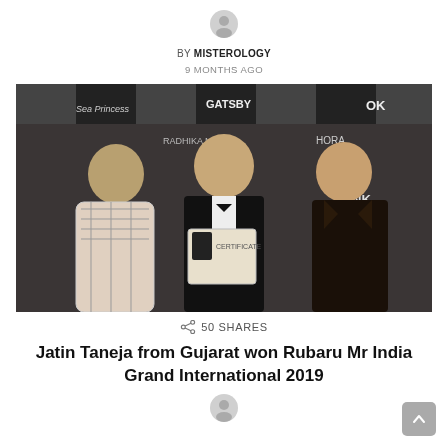BY MISTEROLOGY
9 MONTHS AGO
[Figure (photo): Three people standing in front of a branded photo wall with sponsor logos (Gatsby, OK, NK, Hora, Sea Princess, Radhika Man). A woman in a plaid blazer on the left, a man in the center wearing a tuxedo holding a certificate/sash, and a man on the right in a black leather jacket.]
50 SHARES
Jatin Taneja from Gujarat won Rubaru Mr India Grand International 2019